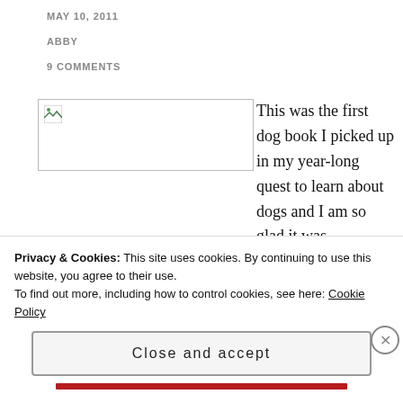MAY 10, 2011
ABBY
9 COMMENTS
[Figure (photo): Broken/placeholder image thumbnail on left side]
This was the first dog book I picked up in my year-long quest to learn about dogs and I am so glad it was.
After being...
Privacy & Cookies: This site uses cookies. By continuing to use this website, you agree to their use.
To find out more, including how to control cookies, see here: Cookie Policy
Close and accept